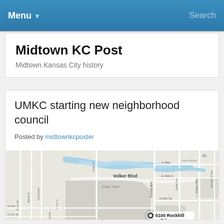Menu ▾  Search
Midtown KC Post
Midtown Kansas City history
UMKC starting new neighborhood council
Posted by midtownkcposter
[Figure (map): Street map showing 5100 Rockhill Rd, University of Missouri-Kansas City area, with a map pin marker at the location. Streets visible include Volker Blvd, Troost Ave, Oak St, Main St, Paseo Blvd, Woodland Ave, and various E-48th through E-53rd streets.]